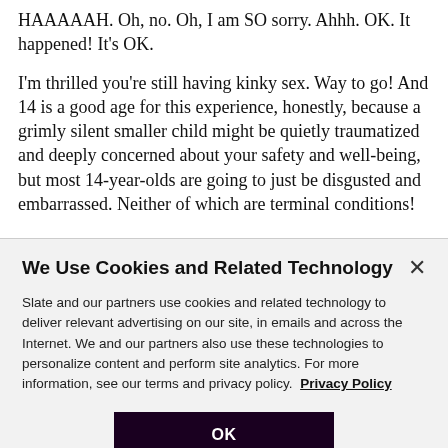HAAAAAH. Oh, no. Oh, I am SO sorry. Ahhh. OK. It happened! It’s OK.
I’m thrilled you’re still having kinky sex. Way to go! And 14 is a good age for this experience, honestly, because a grimly silent smaller child might be quietly traumatized and deeply concerned about your safety and well-being, but most 14-year-olds are going to just be disgusted and embarrassed. Neither of which are terminal conditions!
We Use Cookies and Related Technology
Slate and our partners use cookies and related technology to deliver relevant advertising on our site, in emails and across the Internet. We and our partners also use these technologies to personalize content and perform site analytics. For more information, see our terms and privacy policy.  Privacy Policy
OK